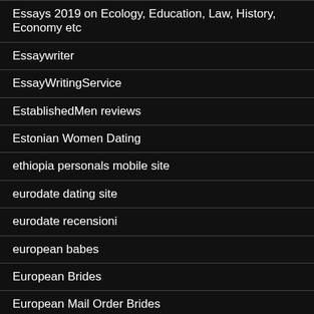Essays 2019 on Ecology, Education, Law, History, Economy etc
Essaywriter
EssayWritingService
EstablishedMen reviews
Estonian Women Dating
ethiopia personals mobile site
eurodate dating site
eurodate recensioni
european babes
European Brides
European Mail Order Brides
Examples Of Informative Essay Topics